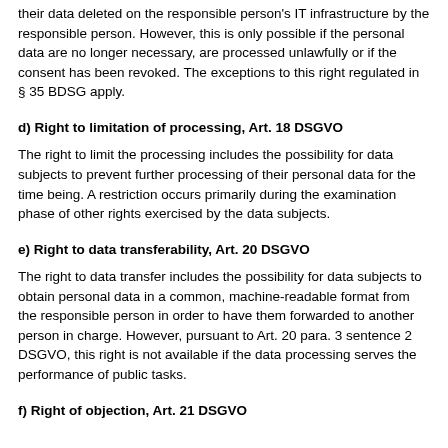their data deleted on the responsible person's IT infrastructure by the responsible person. However, this is only possible if the personal data are no longer necessary, are processed unlawfully or if the consent has been revoked. The exceptions to this right regulated in § 35 BDSG apply.
d) Right to limitation of processing, Art. 18 DSGVO
The right to limit the processing includes the possibility for data subjects to prevent further processing of their personal data for the time being. A restriction occurs primarily during the examination phase of other rights exercised by the data subjects.
e) Right to data transferability, Art. 20 DSGVO
The right to data transfer includes the possibility for data subjects to obtain personal data in a common, machine-readable format from the responsible person in order to have them forwarded to another person in charge. However, pursuant to Art. 20 para. 3 sentence 2 DSGVO, this right is not available if the data processing serves the performance of public tasks.
f) Right of objection, Art. 21 DSGVO